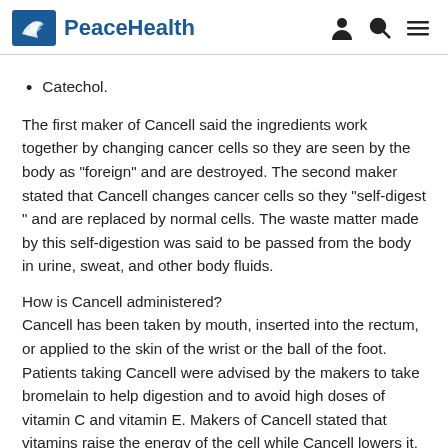PeaceHealth
Catechol.
The first maker of Cancell said the ingredients work together by changing cancer cells so they are seen by the body as "foreign" and are destroyed. The second maker stated that Cancell changes cancer cells so they "self-digest " and are replaced by normal cells. The waste matter made by this self-digestion was said to be passed from the body in urine, sweat, and other body fluids.
How is Cancell administered?
Cancell has been taken by mouth, inserted into the rectum, or applied to the skin of the wrist or the ball of the foot. Patients taking Cancell were advised by the makers to take bromelain to help digestion and to avoid high doses of vitamin C and vitamin E. Makers of Cancell stated that vitamins raise the energy of the cell while Cancell lowers it.